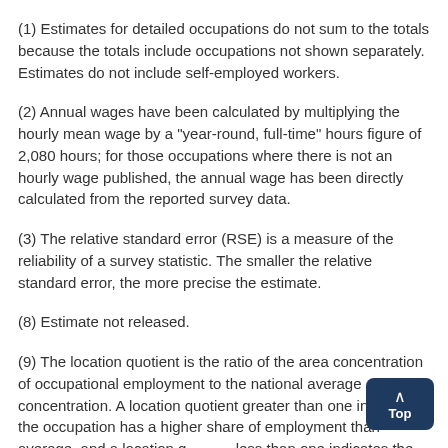(1) Estimates for detailed occupations do not sum to the totals because the totals include occupations not shown separately. Estimates do not include self-employed workers.
(2) Annual wages have been calculated by multiplying the hourly mean wage by a "year-round, full-time" hours figure of 2,080 hours; for those occupations where there is not an hourly wage published, the annual wage has been directly calculated from the reported survey data.
(3) The relative standard error (RSE) is a measure of the reliability of a survey statistic. The smaller the relative standard error, the more precise the estimate.
(8) Estimate not released.
(9) The location quotient is the ratio of the area concentration of occupational employment to the national average concentration. A location quotient greater than one indicates the occupation has a higher share of employment than average, and a location quotient less than one indicates the occupation is less prevalent in the area than average.